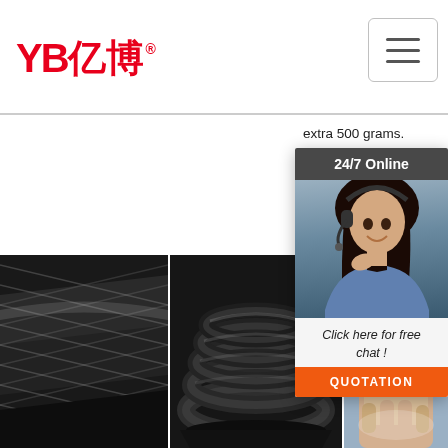[Figure (logo): YB亿博 company logo in red with registered trademark symbol]
[Figure (screenshot): Hamburger menu button (three horizontal lines) in top right corner]
extra 500 grams. Not acc Kar Isla and wer
[Figure (infographic): 24/7 Online chat popup showing a customer service woman with headset, text 'Click here for free chat !' and orange QUOTATION button]
[Figure (photo): Three industrial rubber hose images at bottom: left shows hose exterior with metallic braid texture, center shows coiled black hose, right shows hand holding hose end with TOP logo and orange dots]